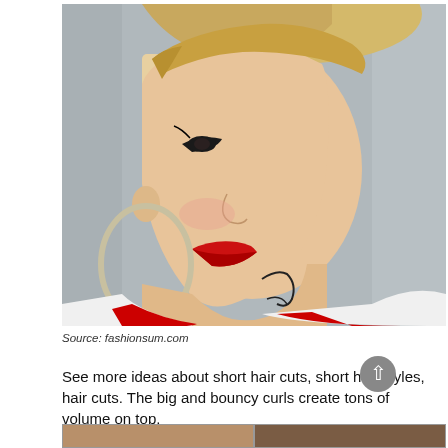[Figure (photo): Side profile of a woman with a short blonde pixie cut with shaved sides, dramatic eye makeup, red lipstick, large silver hoop earrings, neck tattoos, wearing a red and white varsity/bomber jacket. Background is a grey wall.]
Source: fashionsum.com
See more ideas about short hair cuts, short hair styles, hair cuts. The big and bouncy curls create tons of volume on top.
[Figure (photo): Two partial photos at the bottom showing close-up hairstyle images, partially cropped.]